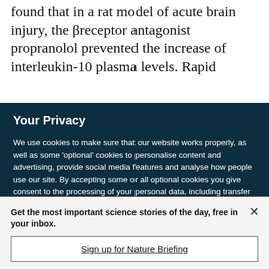found that in a rat model of acute brain injury, the βreceptor antagonist propranolol prevented the increase of interleukin-10 plasma levels. Rapid
Your Privacy
We use cookies to make sure that our website works properly, as well as some 'optional' cookies to personalise content and advertising, provide social media features and analyse how people use our site. By accepting some or all optional cookies you give consent to the processing of your personal data, including transfer to third parties, some in countries outside of the European Economic Area that do not offer the same data protection standards as the country where you live. You can decide which optional cookies to accept by clicking on 'Manage Settings', where you can
Get the most important science stories of the day, free in your inbox.
Sign up for Nature Briefing